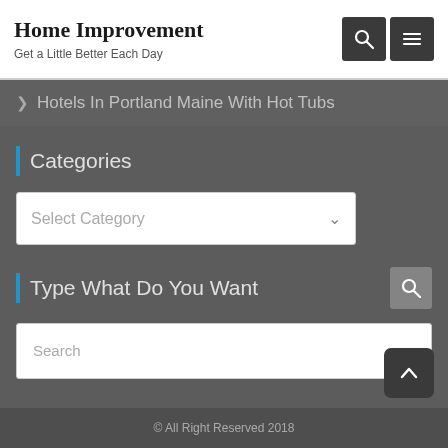Home Improvement
Get a Little Better Each Day
> Hotels In Portland Maine With Hot Tubs
Categories
Select Category
Type What Do You Want
Search
© All Right Reserved 2018